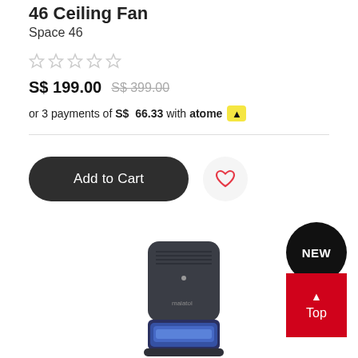46 Ceiling Fan
Space 46
[Figure (other): Five empty star rating icons]
S$ 199.00  S$ 399.00
or 3 payments of S$ 66.33 with atome A
[Figure (other): Add to Cart button and wishlist heart icon button]
[Figure (photo): Dark gray rectangular tower air purifier product with blue light at bottom, Malatol brand]
NEW
Top